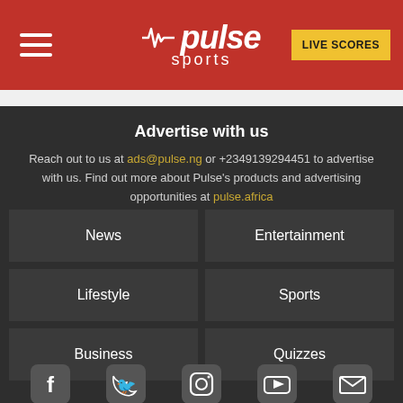Pulse Sports — LIVE SCORES
Advertise with us
Reach out to us at ads@pulse.ng or +2349139294451 to advertise with us. Find out more about Pulse's products and advertising opportunities at pulse.africa
News
Entertainment
Lifestyle
Sports
Business
Quizzes
[Figure (infographic): Row of social media icons: Facebook, Twitter, Instagram, YouTube, Email]